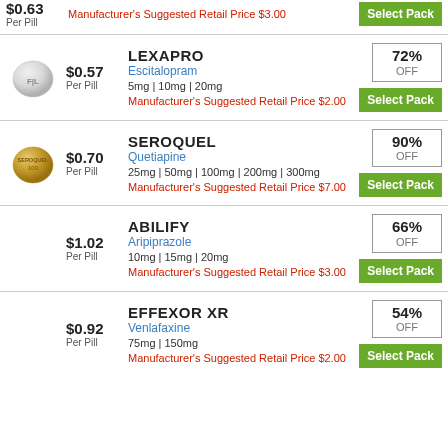$0.63 Per Pill | Manufacturer's Suggested Retail Price $3.00 | Select Pack
LEXAPRO | Escitalopram | 5mg | 10mg | 20mg | $0.57 Per Pill | 72% OFF | Manufacturer's Suggested Retail Price $2.00 | Select Pack
SEROQUEL | Quetiapine | 25mg | 50mg | 100mg | 200mg | 300mg | $0.70 Per Pill | 90% OFF | Manufacturer's Suggested Retail Price $7.00 | Select Pack
ABILIFY | Aripiprazole | 10mg | 15mg | 20mg | $1.02 Per Pill | 66% OFF | Manufacturer's Suggested Retail Price $3.00 | Select Pack
EFFEXOR XR | Venlafaxine | 75mg | 150mg | $0.92 Per Pill | 54% OFF | Manufacturer's Suggested Retail Price $2.00 | Select Pack